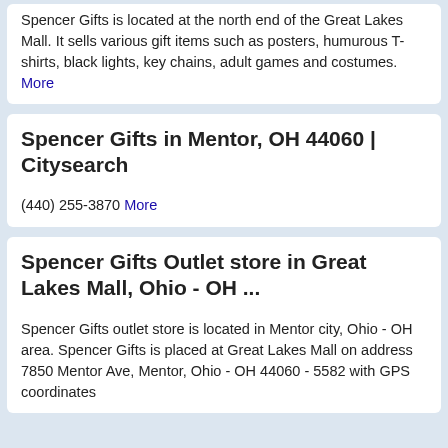Spencer Gifts is located at the north end of the Great Lakes Mall. It sells various gift items such as posters, humurous T-shirts, black lights, key chains, adult games and costumes.  More
Spencer Gifts in Mentor, OH 44060 | Citysearch
(440) 255-3870  More
Spencer Gifts Outlet store in Great Lakes Mall, Ohio - OH ...
Spencer Gifts outlet store is located in Mentor city, Ohio - OH area. Spencer Gifts is placed at Great Lakes Mall on address 7850 Mentor Ave, Mentor, Ohio - OH 44060 - 5582 with GPS coordinates